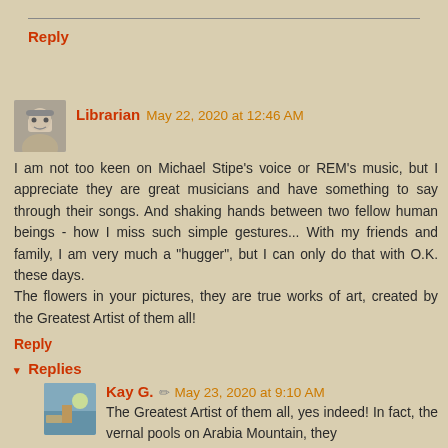Reply
Librarian May 22, 2020 at 12:46 AM
I am not too keen on Michael Stipe's voice or REM's music, but I appreciate they are great musicians and have something to say through their songs. And shaking hands between two fellow human beings - how I miss such simple gestures... With my friends and family, I am very much a "hugger", but I can only do that with O.K. these days. The flowers in your pictures, they are true works of art, created by the Greatest Artist of them all!
Reply
▾ Replies
Kay G. ✏ May 23, 2020 at 9:10 AM
The Greatest Artist of them all, yes indeed! In fact, the vernal pools on Arabia Mountain, they